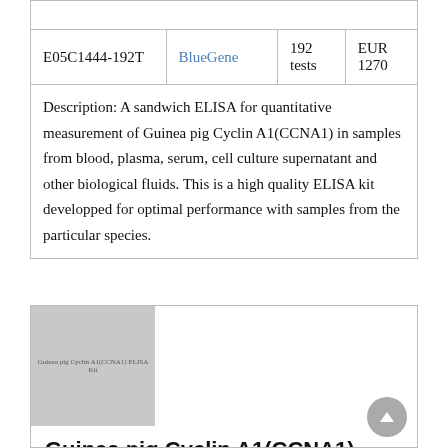|  |  |  |  |
| --- | --- | --- | --- |
| E05C1444-192T | BlueGene | 192 tests | EUR 1270 |
Description: A sandwich ELISA for quantitative measurement of Guinea pig Cyclin A1(CCNA1) in samples from blood, plasma, serum, cell culture supernatant and other biological fluids. This is a high quality ELISA kit developped for optimal performance with samples from the particular species.
[Figure (photo): Product image placeholder for Guinea pig Cyclin A1(CCNA1) ELISA kit]
Guinea pig Cyclin A1(CCNA1) ELISA kit